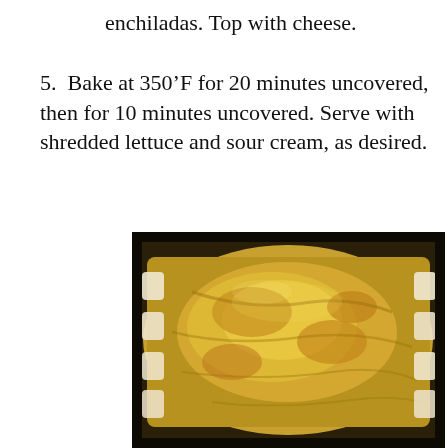enchiladas. Top with cheese.
5. Bake at 350’F for 20 minutes uncovered, then for 10 minutes uncovered. Serve with shredded lettuce and sour cream, as desired.
[Figure (photo): A baking dish containing chicken enchiladas topped with melted cheese sauce, viewed from above. The enchiladas are arranged in a dark pan with a golden-brown cheesy topping.]